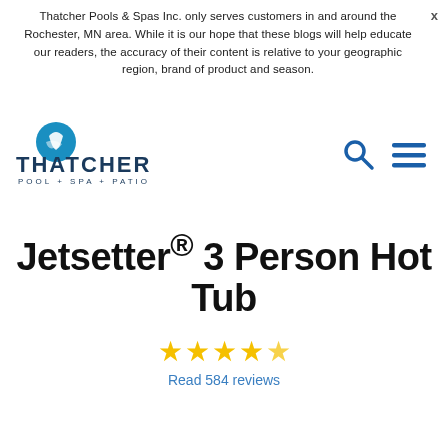Thatcher Pools & Spas Inc. only serves customers in and around the Rochester, MN area. While it is our hope that these blogs will help educate our readers, the accuracy of their content is relative to your geographic region, brand of product and season.
[Figure (logo): Thatcher Pool + Spa + Patio logo with blue icon of water droplet/wave and company name in bold dark blue letters]
Jetsetter® 3 Person Hot Tub
[Figure (infographic): 4.5 star rating shown as yellow stars (4 full, 1 half star), with link 'Read 584 reviews' in blue below]